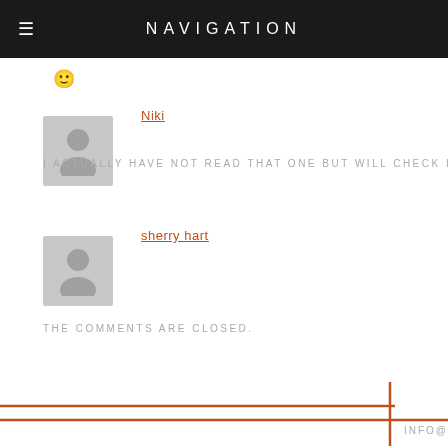NAVIGATION
🙂
Niki
I ACTUALLY HAVE NOT READ THAT ONE BUT WILL CHECK IT O
sherry hart
THE COMMENTS ARE CLOSED.
INFO@